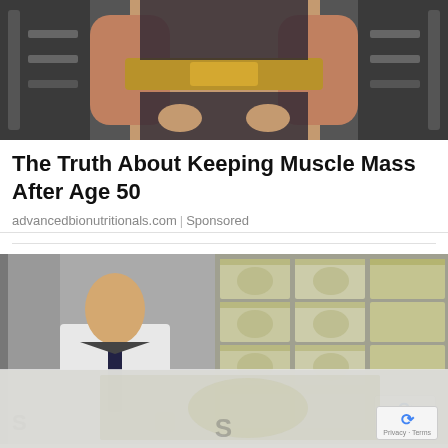[Figure (photo): A muscular person's torso and arms at a gym, wearing a black outfit with a gold belt, shown from the waist up in front of weight equipment.]
The Truth About Keeping Muscle Mass After Age 50
advancedbionutritionals.com | Sponsored
[Figure (photo): A man in a white shirt and dark tie standing next to enormous stacks of bundled US dollar bills, appearing to count or inspect the money.]
[Figure (photo): Partially visible faded image of stacked money with a reCAPTCHA badge overlay. Bottom portion shows faded text of a new article headline beginning with 'S'.]